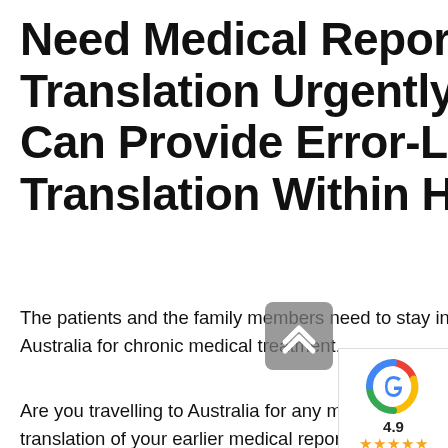Need Medical Report Translation Urgently? We Can Provide Error-Less Translation Within Hours!
The patients and the family members need to stay in a specific location where they get the treatment in Australia for chronic medical treatment.
Are you travelling to Australia for any medical purpose? Then, you must produce the English translation of your earlier medical reports.
A single error in the medical report translation process can cause many problems. Besides that,
[Figure (logo): Google Reviews widget showing Google G logo in red, green, yellow, blue colors with rating 4.9 and 5 gold stars]